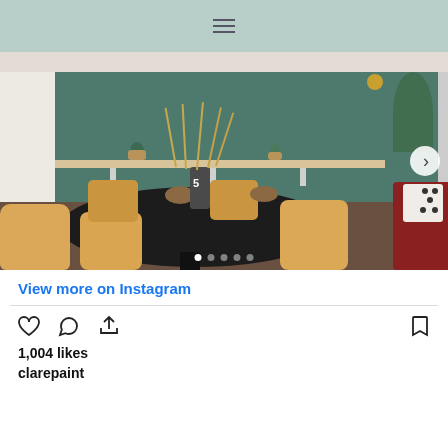≡
[Figure (photo): Interior photo of a modern cafe/dining space with a large round black table, tan/beige sculpted chairs, a dark vase with dried grasses on the table, a wooden shelf on a teal/dark green wall with small plants, and a glimpse of a red sofa on the right.]
View more on Instagram
1,004 likes
clarepaint